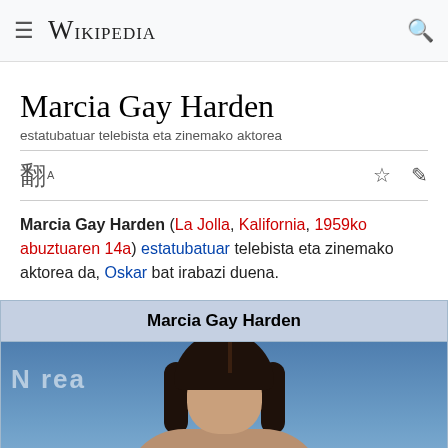Wikipedia
Marcia Gay Harden
estatubatuar telebista eta zinemako aktorea
Marcia Gay Harden (La Jolla, Kalifornia, 1959ko abuztuaren 14a) estatubatuar telebista eta zinemako aktorea da, Oskar bat irabazi duena.
| Marcia Gay Harden |
| --- |
[Figure (photo): Photo of Marcia Gay Harden, a woman with dark brown hair, at what appears to be a CBS event.]